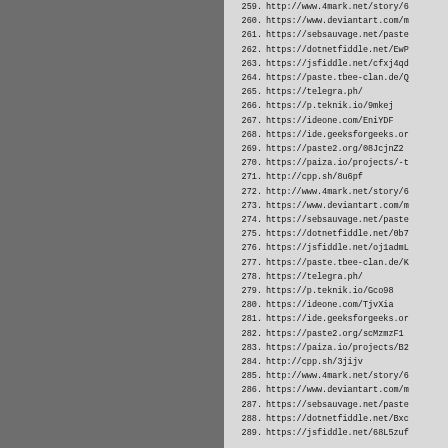259. http://www.4mark.net/story/6
260. https://www.deviantart.com/m
261. https://sebsauvage.net/paste
262. https://dotnetfiddle.net/EwP
263. https://jsfiddle.net/cfxj4qd
264. https://paste.tbee-clan.de/Q
265. https://telegra.ph/
266. https://p.teknik.io/9mkej
267. https://ideone.com/EniYDF
268. https://ide.geeksforgeeks.or
269. https://paste2.org/08JcjnZ2
270. https://paiza.io/projects/-t
271. http://cpp.sh/8u6pf
272. http://www.4mark.net/story/6
273. https://www.deviantart.com/m
274. https://sebsauvage.net/paste
275. https://dotnetfiddle.net/0b7
276. https://jsfiddle.net/oj1admL
277. https://paste.tbee-clan.de/K
278. https://telegra.ph/
279. https://p.teknik.io/Gco98
280. https://ideone.com/TjvXia
281. https://ide.geeksforgeeks.or
282. https://paste2.org/scMzmzF1
283. https://paiza.io/projects/B2
284. http://cpp.sh/3jijv
285. http://www.4mark.net/story/6
286. https://www.deviantart.com/m
287. https://sebsauvage.net/paste
288. https://dotnetfiddle.net/Bxc
289. https://jsfiddle.net/68L5zuf